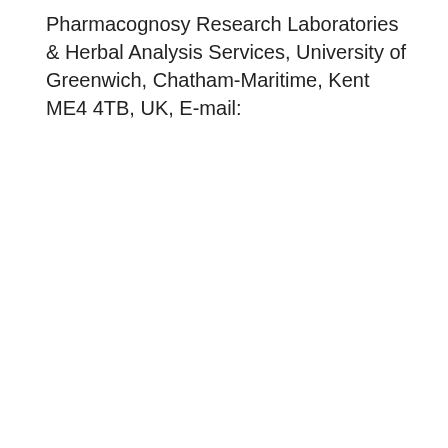Pharmacognosy Research Laboratories & Herbal Analysis Services, University of Greenwich, Chatham-Maritime, Kent ME4 4TB, UK, E-mail: